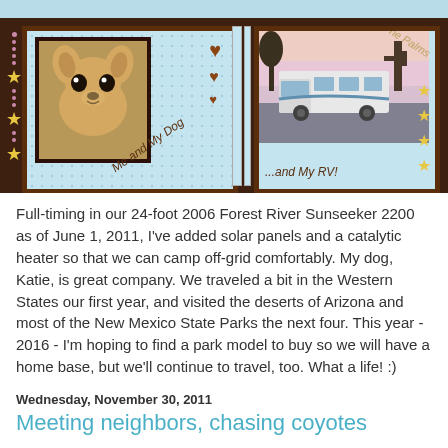[Figure (illustration): Blog header banner with brown scrapbook background. Left panel shows a Chihuahua dog photo with decorative hearts and handwritten text 'Me and My Dog'. Right panel shows an RV photo with handwritten text '...and My RV!' and 'The Palms' with star decorations.]
Full-timing in our 24-foot 2006 Forest River Sunseeker 2200 as of June 1, 2011, I've added solar panels and a catalytic heater so that we can camp off-grid comfortably. My dog, Katie, is great company. We traveled a bit in the Western States our first year, and visited the deserts of Arizona and most of the New Mexico State Parks the next four. This year - 2016 - I'm hoping to find a park model to buy so we will have a home base, but we'll continue to travel, too. What a life! :)
Wednesday, November 30, 2011
Meeting neighbors, chasing coyotes